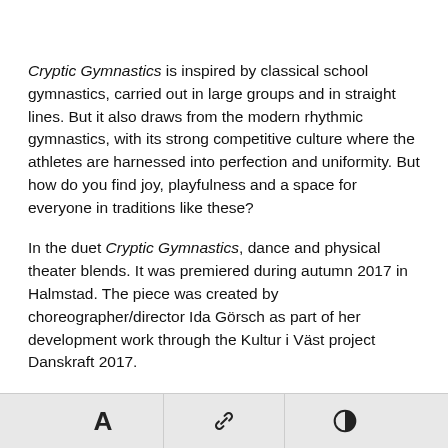Cryptic Gymnastics is inspired by classical school gymnastics, carried out in large groups and in straight lines. But it also draws from the modern rhythmic gymnastics, with its strong competitive culture where the athletes are harnessed into perfection and uniformity. But how do you find joy, playfulness and a space for everyone in traditions like these?
In the duet Cryptic Gymnastics, dance and physical theater blends. It was premiered during autumn 2017 in Halmstad. The piece was created by choreographer/director Ida Görsch as part of her development work through the Kultur i Väst project Danskraft 2017.
[Figure (other): Bottom toolbar with three icons: A (text/font), a chain link icon, and a contrast/circle icon]